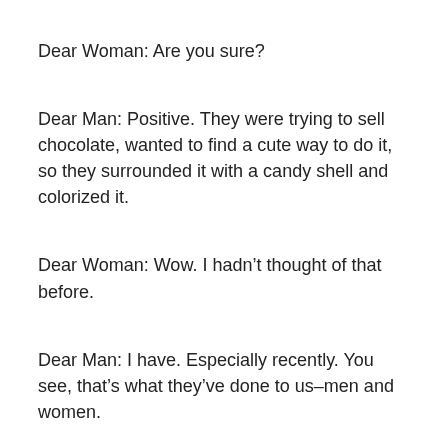Dear Woman: Are you sure?
Dear Man: Positive. They were trying to sell chocolate, wanted to find a cute way to do it, so they surrounded it with a candy shell and colorized it.
Dear Woman: Wow. I hadn’t thought of that before.
Dear Man: I have. Especially recently. You see, that’s what they’ve done to us–men and women.